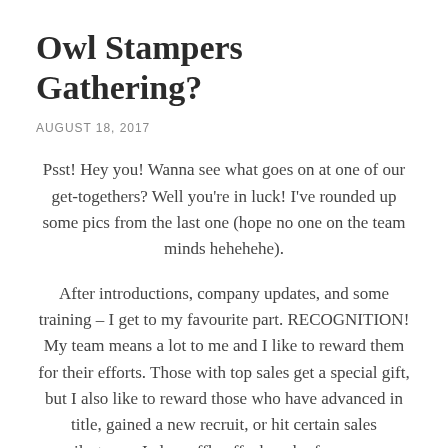Owl Stampers Gathering?
AUGUST 18, 2017
Psst! Hey you! Wanna see what goes on at one of our get-togethers? Well you're in luck! I've rounded up some pics from the last one (hope no one on the team minds hehehehe).
After introductions, company updates, and some training – I get to my favourite part. RECOGNITION! My team means a lot to me and I like to reward them for their efforts. Those with top sales get a special gift, but I also like to reward those who have advanced in title, gained a new recruit, or hit certain sales milestones. I also raffle off a bunch of awesome product, if I do